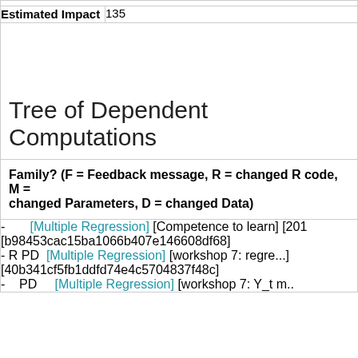| Estimated Impact | 135 |
| --- | --- |
Tree of Dependent Computations
Family? (F = Feedback message, R = changed R code, M = changed Parameters, D = changed Data)
- [Multiple Regression] [Competence to learn] [201... [b98453cac15ba1066b407e146608df68]
- R PD [Multiple Regression] [workshop 7: regre...] [40b341cf5fb1ddfd74e4c5704837f48c]
- PD [Multiple Regression] [workshop 7: Y_t m...